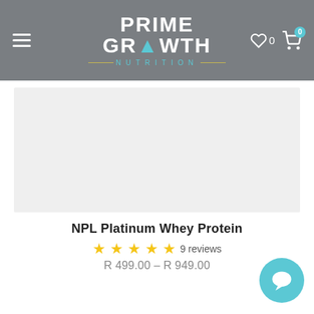Prime Growth Nutrition — navigation header with logo, hamburger menu, wishlist (0), cart (0)
[Figure (other): Light grey product image placeholder area for NPL Platinum Whey Protein]
NPL Platinum Whey Protein
★★★★★ 9 reviews
R 499.00 – R 949.00